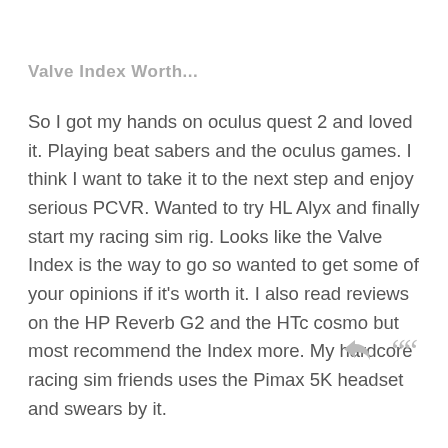Valve Index Worth...
So I got my hands on oculus quest 2 and loved it. Playing beat sabers and the oculus games. I think I want to take it to the next step and enjoy serious PCVR. Wanted to try HL Alyx and finally start my racing sim rig. Looks like the Valve Index is the way to go so wanted to get some of your opinions if it's worth it. I also read reviews on the HP Reverb G2 and the HTc cosmo but most recommend the Index more. My hardcore racing sim friends uses the Pimax 5K headset and swears by it.